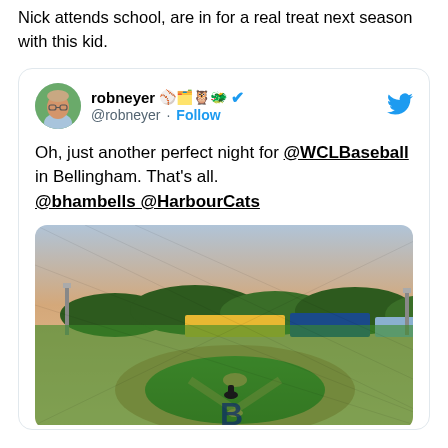Nick attends school, are in for a real treat next season with this kid.
[Figure (screenshot): Embedded tweet from @robneyer showing a baseball field photo from a WCL Baseball game in Bellingham with the caption: 'Oh, just another perfect night for @WCLBaseball in Bellingham. That's all. @bhambells @HarbourCats']